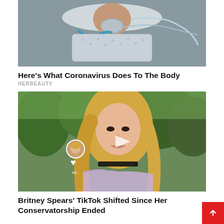[Figure (photo): Person lying in hospital bed with oxygen mask and medical tubes]
Here's What Coronavirus Does To The Body
HERBEAUTY
[Figure (photo): Blonde woman outdoors wearing a black choker necklace, with a video play button overlay and TikTok-style UI elements]
Britney Spears' TikTok Shifted Since Her Conservatorship Ended